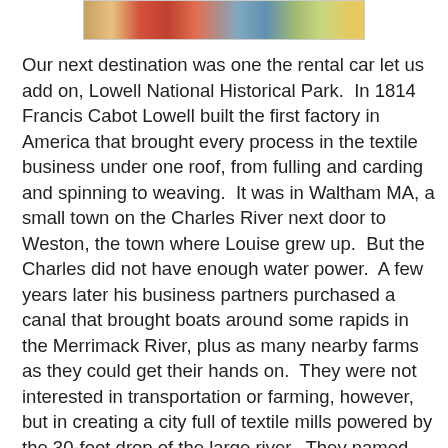[Figure (photo): Partial photo strip showing a colorful image at the top of the page]
Our next destination was one the rental car let us add on, Lowell National Historical Park.  In 1814 Francis Cabot Lowell built the first factory in America that brought every process in the textile business under one roof, from fulling and carding and spinning to weaving.  It was in Waltham MA, a small town on the Charles River next door to Weston, the town where Louise grew up.  But the Charles did not have enough water power.  A few years later his business partners purchased a canal that brought boats around some rapids in the Merrimack River, plus as many nearby farms as they could get their hands on.  They were not interested in transportation or farming, however, but in creating a city full of textile mills powered by the 30-foot drop of the large river.  They named that city after the now-deceased Lowell.  It was a spectacular success story.  For the first 20 years the average profit was 24% per year!  From soon after its founding to the Civil War, Lowell was the largest concentration of industry in the entire nation.  A million yards of cloth per year was sent from its mills to consumers not only in America but also in South America, China, Russia